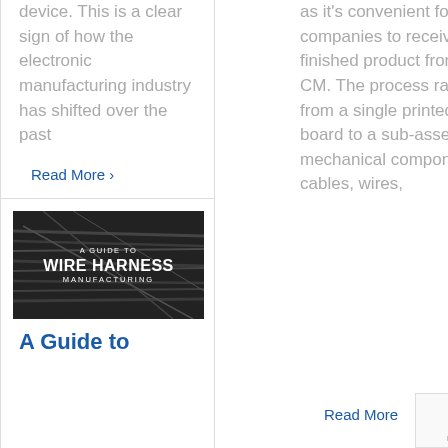device. This is a clear sign of how the electronic manufacturing industry has shifted over the past
Read More
[Figure (photo): Dark background image with bundled wires/cables, overlaid with white text reading 'A GUIDE TO WIRE HARNESS MANUFACTURING']
A Guide to
as it's convenient for many companies to receive a finished product from their CM. The process ranges from a single printed circuit board to a sub-assembly of mechanical components, cables, wires,
Read More